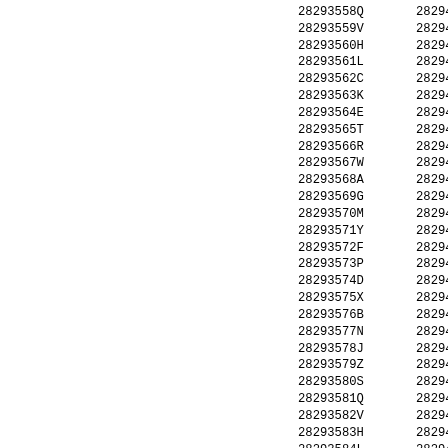28293558Q    28294558G
28293559V    28294559M
28293560H    28294560Y
28293561L    28294561F
28293562C    28294562P
28293563K    28294563D
28293564E    28294564X
28293565T    28294565B
28293566R    28294566N
28293567W    28294567J
28293568A    28294568Z
28293569G    28294569S
28293570M    28294570Q
28293571Y    28294571V
28293572F    28294572H
28293573P    28294573L
28293574D    28294574C
28293575X    28294575K
28293576B    28294576E
28293577N    28294577T
28293578J    28294578R
28293579Z    28294579W
28293580S    28294580A
28293581Q    28294581G
28293582V    28294582M
28293583H    28294583Y
28293584L    28294584F
28293585C    28294585P
28293586K    28294586D
28293587E    28294587X